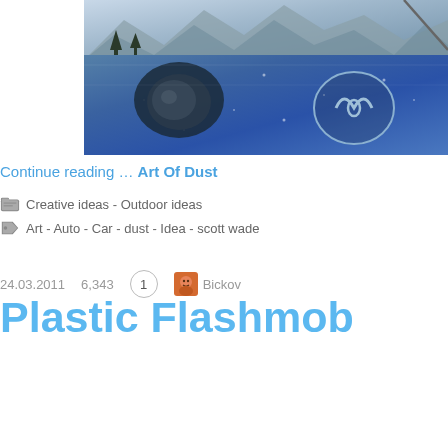[Figure (photo): Close-up photo of a blue dusty Mazda car hood with headlight and Mazda logo visible, with mountain landscape reflection or dust art on the surface]
Continue reading … Art Of Dust
Creative ideas - Outdoor ideas
Art - Auto - Car - dust - Idea - scott wade
24.03.2011   6,343   1   Bickov
Plastic Flashmob